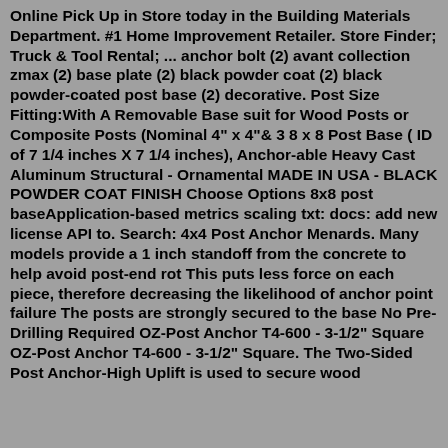Online Pick Up in Store today in the Building Materials Department. #1 Home Improvement Retailer. Store Finder; Truck & Tool Rental; ... anchor bolt (2) avant collection zmax (2) base plate (2) black powder coat (2) black powder-coated post base (2) decorative. Post Size Fitting:With A Removable Base suit for Wood Posts or Composite Posts (Nominal 4" x 4"& 3 8 x 8 Post Base ( ID of 7 1/4 inches X 7 1/4 inches), Anchor-able Heavy Cast Aluminum Structural - Ornamental MADE IN USA - BLACK POWDER COAT FINISH Choose Options 8x8 post baseApplication-based metrics scaling txt: docs: add new license API to. Search: 4x4 Post Anchor Menards. Many models provide a 1 inch standoff from the concrete to help avoid post-end rot This puts less force on each piece, therefore decreasing the likelihood of anchor point failure The posts are strongly secured to the base No Pre-Drilling Required OZ-Post Anchor T4-600 - 3-1/2" Square OZ-Post Anchor T4-600 - 3-1/2" Square. The Two-Sided Post Anchor-High Uplift is used to secure wood